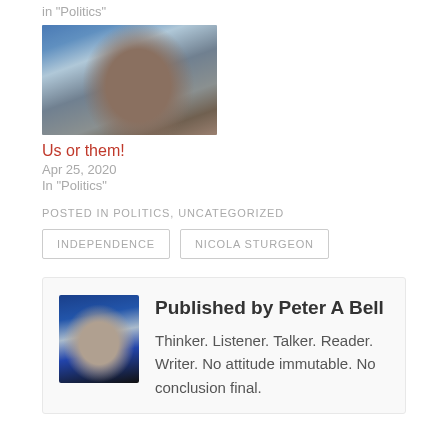in "Politics"
[Figure (photo): Photo of a man at a political rally with Scottish independence flags in the background]
Us or them!
Apr 25, 2020
In "Politics"
POSTED IN POLITICS, UNCATEGORIZED
INDEPENDENCE
NICOLA STURGEON
[Figure (photo): Author photo of Peter A Bell with Scottish saltire flag background]
Published by Peter A Bell
Thinker. Listener. Talker. Reader. Writer. No attitude immutable. No conclusion final.